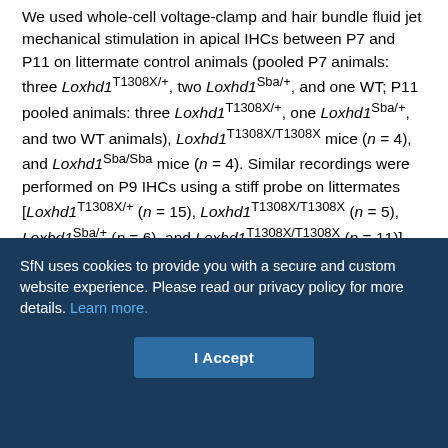We used whole-cell voltage-clamp and hair bundle fluid jet mechanical stimulation in apical IHCs between P7 and P11 on littermate control animals (pooled P7 animals: three Loxhd1T1308X/+, two Loxhd1Sba/+, and one WT; P11 pooled animals: three Loxhd1T1308X/+, one Loxhd1Sba/+, and two WT animals), Loxhd1T1308X/T1308X mice (n = 4), and Loxhd1Sba/Sba mice (n = 4). Similar recordings were performed on P9 IHCs using a stiff probe on littermates [Loxhd1T1308X/+ (n = 15), Loxhd1T1308X/T1308X (n = 5), Loxhd1Sba/+ (n = 6), and Loxhd1T1308X/T1308X (n = 11)]. All recorded currents are included in the summary plots. Student's t tests were performed to compare current characteristics across genotypes.

Measurement of the heights of stereocilia, quantification of TLs, and quantification of LHFPL5 and USH1C at the TL ends are described
SfN uses cookies to provide you with a secure and custom website experience. Please read our privacy policy for more details. Learn more.
I Accept